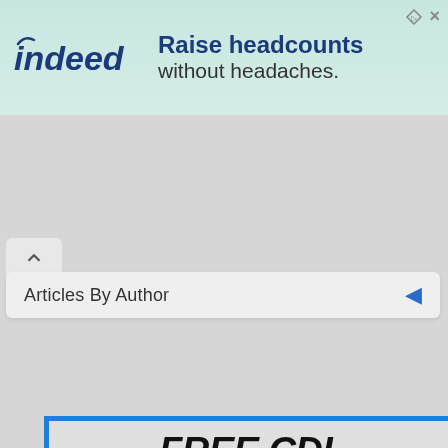[Figure (screenshot): Indeed advertisement banner: 'Raise headcounts without headaches.' with Indeed logo on light teal/green background]
Articles By Author
[Figure (illustration): FREE CDL PRACTICE TESTS promotional image with blue truck graphic, 730 QUESTIONS text, TT diamond logo, and Menu button]